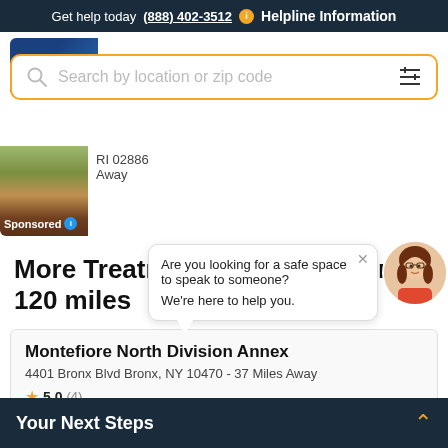Get help today (888) 402-3512  Helpline Information
AdCare Outpatient Facility
RI 02886
Away
Sponsored
Search by location or zip code
More Treatment Centers within 120 miles
Are you looking for a safe space to speak to someone?
We're here to help you.
Montefiore North Division Annex
4401 Bronx Blvd Bronx, NY 10470 - 37 Miles Away
5.0 (4)
Your Next Steps